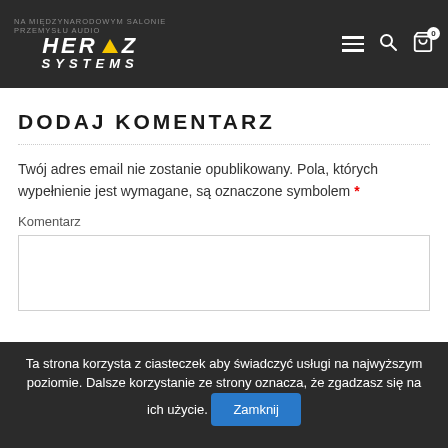NA MIĘDZYNARODOWYM SALONIE PRZEMYSŁU AUDIO | HERTZ SYSTEMS
DODAJ KOMENTARZ
Twój adres email nie zostanie opublikowany. Pola, których wypełnienie jest wymagane, są oznaczone symbolem *
Komentarz
Ta strona korzysta z ciasteczek aby świadczyć usługi na najwyższym poziomie. Dalsze korzystanie ze strony oznacza, że zgadzasz się na ich użycie. Zamknij